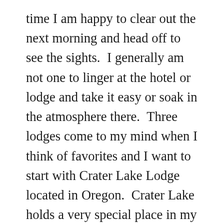time I am happy to clear out the next morning and head off to see the sights.  I generally am not one to linger at the hotel or lodge and take it easy or soak in the atmosphere there.  Three lodges come to my mind when I think of favorites and I want to start with Crater Lake Lodge located in Oregon.  Crater Lake holds a very special place in my heart.  I will never forget my first sight of the lake when we pulled the car over and I walked up a short hill and saw the impossibly blue lake located in a crater and surrounded by steep cliffs.  Crater Lake is one of the most beautiful lakes I have ever seen – no, it is the most beautiful lake.  Crater Lake is the deepest lake in the United States and due to the great depth and water clarity, sunlight is